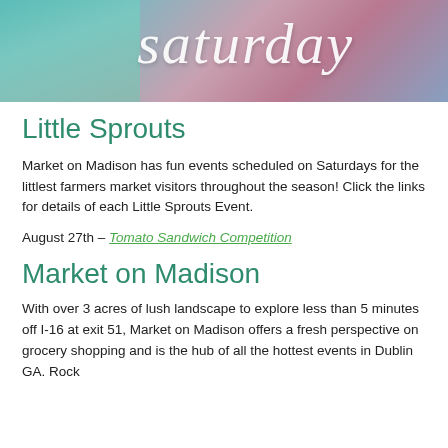[Figure (photo): Banner photo of people at a farmers market with overlaid cursive 'saturday' text in white on a colorful background]
Little Sprouts
Market on Madison has fun events scheduled on Saturdays for the littlest farmers market visitors throughout the season! Click the links for details of each Little Sprouts Event.
August 27th – Tomato Sandwich Competition
Market on Madison
With over 3 acres of lush landscape to explore less than 5 minutes off I-16 at exit 51, Market on Madison offers a fresh perspective on grocery shopping and is the hub of all the hottest events in Dublin GA. Rock